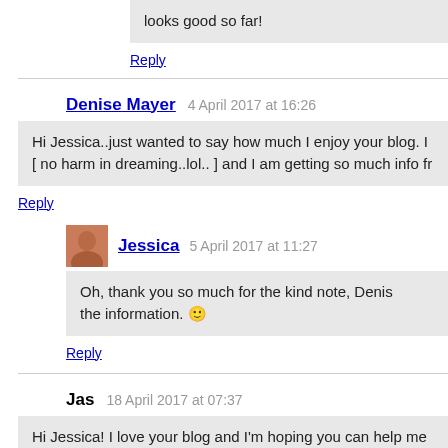looks good so far!
Reply
Denise Mayer   4 April 2017 at 16:26
Hi Jessica..just wanted to say how much I enjoy your blog. I [ no harm in dreaming..lol.. ] and I am getting so much info fr
Reply
Jessica   5 April 2017 at 11:27
Oh, thank you so much for the kind note, Denis the information. 🙂
Reply
Jas   18 April 2017 at 07:37
Hi Jessica! I love your blog and I'm hoping you can help me planning a trip to Italy for 7-8 days this June. We were thinki (2 nights), train to cinque terre (1 night- is that reasonable?), to Siena (1 night) and then finish off in Rome. We actually